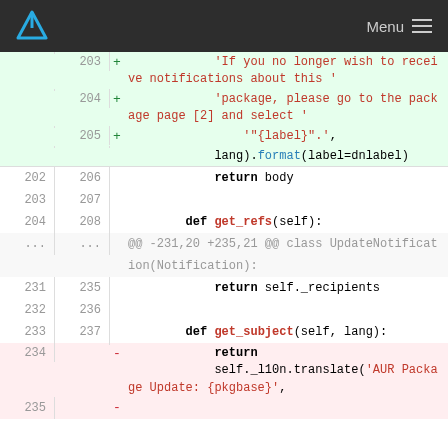Menu
[Figure (screenshot): Code diff view showing Python source changes in aurweb notification code. Lines 203-205 added (green), showing translated strings for notification unsubscribe message. Lines 202-208 show return body and get_refs function. Lines 231-237 show return self._recipients and get_subject function. Lines 234-235 show removed (red) return self._l10n.translate call with AUR Package Update string.]